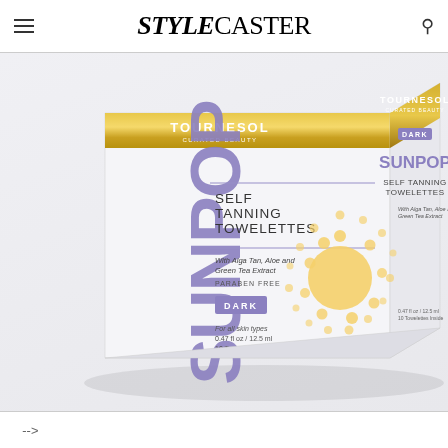STYLECASTER
[Figure (photo): Product photo of Tournesol Curated Beauty SUNPOP Self Tanning Towelettes in Dark shade. White and gold box with purple accents, showing front and side panels. Front panel displays SUNPOP in large purple letters, SELF TANNING TOWELETTES text, With Alga Tan, Aloe and Green Tea Extract, PARABEN FREE, DARK label badge, For all skin types, 0.47 fl oz / 12.5 ml, 10 Towelettes Inside. Side panel shows TOURNESOL CURATED BEAUTY logo with gold banner, DARK badge, SUNPOP, SELF TANNING TOWELETTES text, With Alga Tan, Aloe and Green Tea Extract. Yellow dot sun pattern on front.]
-->